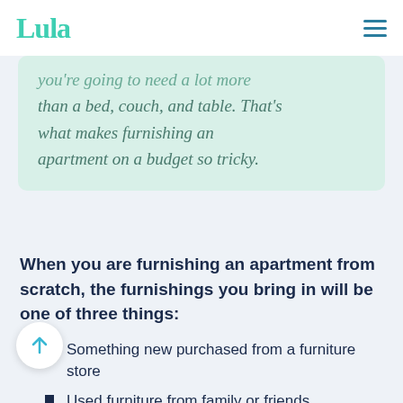Lula
you're going to need a lot more than a bed, couch, and table. That's what makes furnishing an apartment on a budget so tricky.
When you are furnishing an apartment from scratch, the furnishings you bring in will be one of three things:
Something new purchased from a furniture store
Used furniture from family or friends